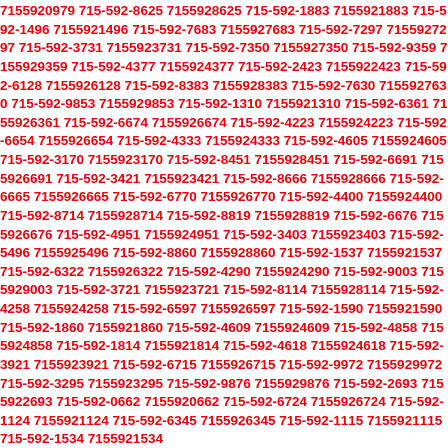7155920979 715-592-8625 7155928625 715-592-1883 7155921883 715-592-1496 7155921496 715-592-7683 7155927683 715-592-7297 7155927297 715-592-3731 7155923731 715-592-7350 7155927350 715-592-9359 7155929359 715-592-4377 7155924377 715-592-2423 7155922423 715-592-6128 7155926128 715-592-8383 7155928383 715-592-7630 7155927630 715-592-9853 7155929853 715-592-1310 7155921310 715-592-6361 7155926361 715-592-6674 7155926674 715-592-4223 7155924223 715-592-6654 7155926654 715-592-4333 7155924333 715-592-4605 7155924605 715-592-3170 7155923170 715-592-8451 7155928451 715-592-6691 7155926691 715-592-3421 7155923421 715-592-8666 7155928666 715-592-6665 7155926665 715-592-6770 7155926770 715-592-4400 7155924400 715-592-8714 7155928714 715-592-8819 7155928819 715-592-6676 7155926676 715-592-4951 7155924951 715-592-3403 7155923403 715-592-5496 7155925496 715-592-8860 7155928860 715-592-1537 7155921537 715-592-6322 7155926322 715-592-4290 7155924290 715-592-9003 7155929003 715-592-3721 7155923721 715-592-8114 7155928114 715-592-4258 7155924258 715-592-6597 7155926597 715-592-1590 7155921590 715-592-1860 7155921860 715-592-4609 7155924609 715-592-4858 7155924858 715-592-1814 7155921814 715-592-4618 7155924618 715-592-3921 7155923921 715-592-6715 7155926715 715-592-9972 7155929972 715-592-3295 7155923295 715-592-9876 7155929876 715-592-2693 7155922693 715-592-0662 7155920662 715-592-6724 7155926724 715-592-1124 7155921124 715-592-6345 7155926345 715-592-1115 7155921115 715-592-1534 7155921534